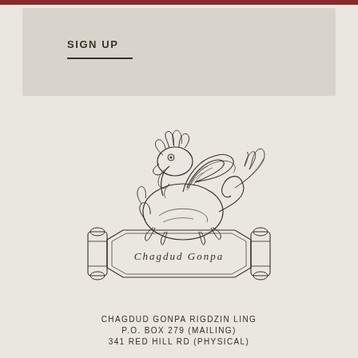SIGN UP
[Figure (illustration): Chagdud Gonpa logo: a winged mythical creature (Tibetan snow lion or similar) standing on a decorative banner/scroll pedestal inscribed with 'CHAGDUD GONPA' in stylized lettering, rendered as a detailed line drawing in dark ink on light background.]
CHAGDUD GONPA RIGDZIN LING
P.O. BOX 279 (MAILING)
341 RED HILL RD (PHYSICAL)